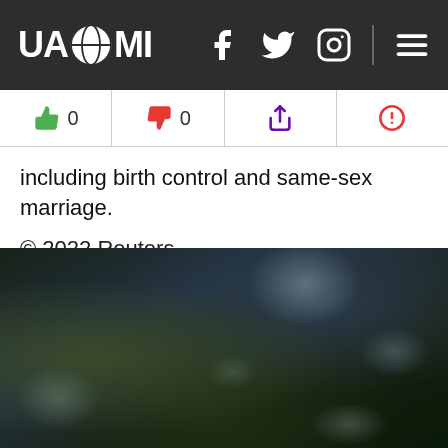UAZMI
including birth control and same-sex marriage.
© 2022 Reuters
[Figure (photo): Dark blurry outdoor photo showing what appears to be dark foliage or trees at night]